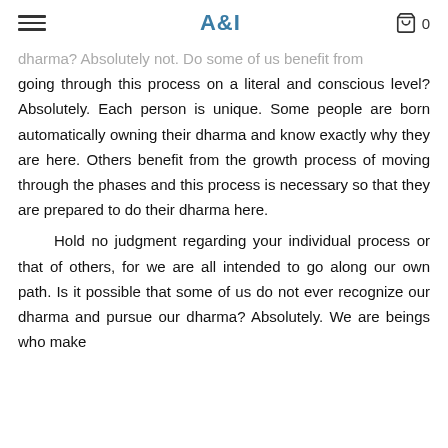A&I
dharma? Absolutely not. Do some of us benefit from going through this process on a literal and conscious level? Absolutely. Each person is unique. Some people are born automatically owning their dharma and know exactly why they are here. Others benefit from the growth process of moving through the phases and this process is necessary so that they are prepared to do their dharma here.
Hold no judgment regarding your individual process or that of others, for we are all intended to go along our own path. Is it possible that some of us do not ever recognize our dharma and pursue our dharma? Absolutely. We are beings who make